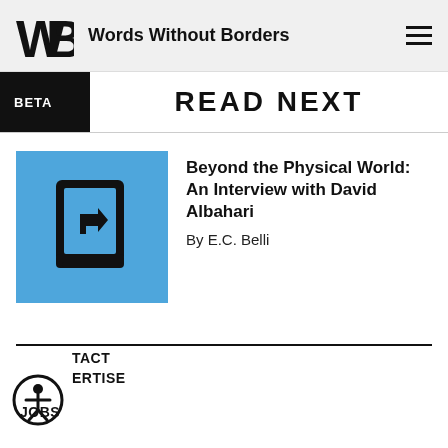Words Without Borders
READ NEXT
[Figure (illustration): Book icon with share/redirect arrow on blue square background]
Beyond the Physical World: An Interview with David Albahari
By E.C. Belli
CONTACT ADVERTISE JOBS